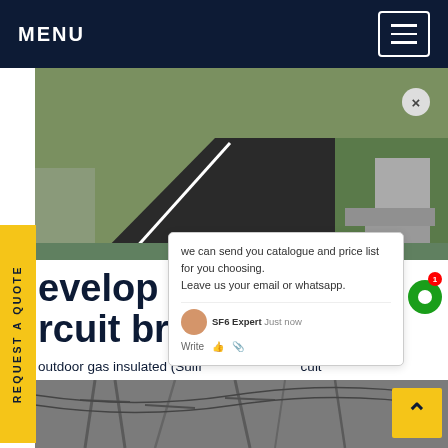MENU
[Figure (photo): Outdoor photograph showing a road/path with green grass and concrete support pillars, likely near an electrical substation or industrial facility.]
…evelop abb 132 kV circuit breaker Eur…
…outdoor gas insulated (Sulfr … cuit breaker OHB Medium Voltage circuit … th mechanical operating mechanism designed for distribution systems up to 40.5 kV, 2500 A, 31.5 kA. These circuit breakers are of live tank design.Get price
[Figure (photo): Bottom portion of a photograph showing electrical transmission towers/pylons with wire infrastructure against a grey sky.]